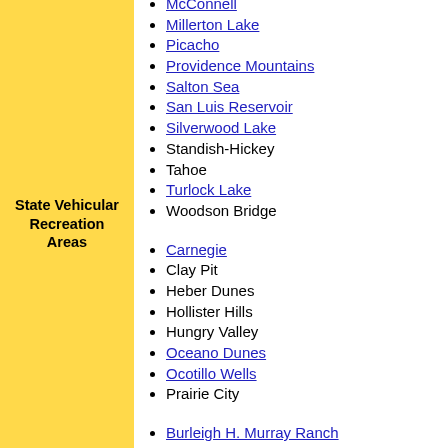McConnell
Millerton Lake
Picacho
Providence Mountains
Salton Sea
San Luis Reservoir
Silverwood Lake
Standish-Hickey
Tahoe
Turlock Lake
Woodson Bridge
State Vehicular Recreation Areas
Carnegie
Clay Pit
Heber Dunes
Hollister Hills
Hungry Valley
Oceano Dunes
Ocotillo Wells
Prairie City
Burleigh H. Murray Ranch
California State Mining and Mineral Museum
California State Capitol Museum
California State Railroad Museum
Castro Adobe